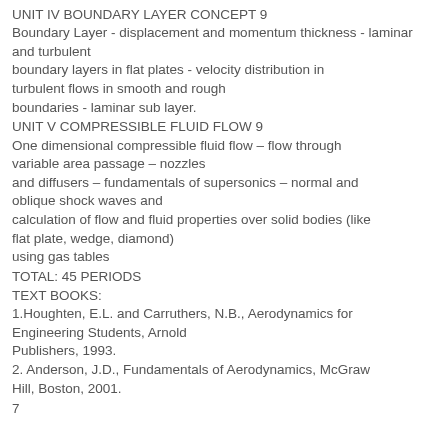UNIT IV BOUNDARY LAYER CONCEPT 9
Boundary Layer - displacement and momentum thickness - laminar and turbulent boundary layers in flat plates - velocity distribution in turbulent flows in smooth and rough boundaries - laminar sub layer.
UNIT V COMPRESSIBLE FLUID FLOW 9
One dimensional compressible fluid flow – flow through variable area passage – nozzles and diffusers – fundamentals of supersonics – normal and oblique shock waves and calculation of flow and fluid properties over solid bodies (like flat plate, wedge, diamond) using gas tables
TOTAL: 45 PERIODS
TEXT BOOKS:
1.Houghten, E.L. and Carruthers, N.B., Aerodynamics for Engineering Students, Arnold Publishers, 1993.
2. Anderson, J.D., Fundamentals of Aerodynamics, McGraw Hill, Boston, 2001.
7